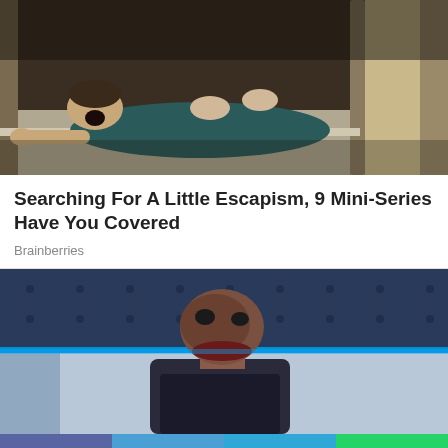[Figure (photo): A man screaming while being pulled or dragged along the floor in a dramatic scene from a TV series or movie, dark interior setting]
Searching For A Little Escapism, 9 Mini-Series Have You Covered
Brainberries
[Figure (photo): A zombie-like or heavily made-up monster character in dark clothing standing in a blue-lit corridor or room, horror scene from a series]
[Figure (other): Social media share bar with Facebook, Twitter, Telegram, and WhatsApp buttons]